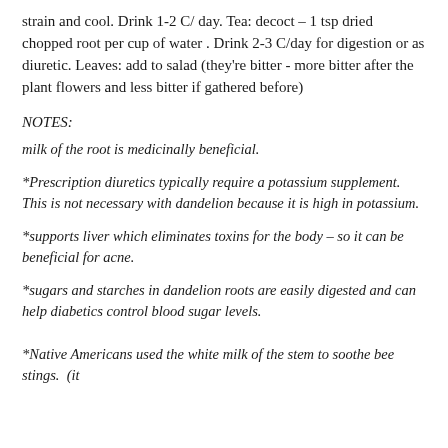strain and cool. Drink 1-2 C/ day. Tea: decoct – 1 tsp dried chopped root per cup of water . Drink 2-3 C/day for digestion or as diuretic. Leaves: add to salad (they're bitter - more bitter after the plant flowers and less bitter if gathered before)
NOTES:
milk of the root is medicinally beneficial.
*Prescription diuretics typically require a potassium supplement. This is not necessary with dandelion because it is high in potassium.
*supports liver which eliminates toxins for the body – so it can be beneficial for acne.
*sugars and starches in dandelion roots are easily digested and can help diabetics control blood sugar levels.
*Native Americans used the white milk of the stem to soothe bee stings.  (it